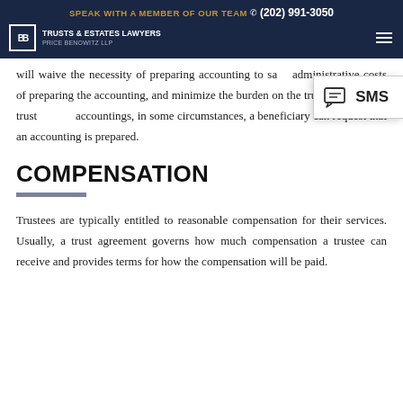SPEAK WITH A MEMBER OF OUR TEAM (202) 991-3050 | TRUSTS & ESTATES LAWYERS PRICE BENOWITZ LLP
will waive the necessity of preparing accounting to save administrative costs of preparing the accounting, and minimize the burden on the trustee. Even if a trust waives accountings, in some circumstances, a beneficiary can request that an accounting is prepared.
COMPENSATION
Trustees are typically entitled to reasonable compensation for their services. Usually, a trust agreement governs how much compensation a trustee can receive and provides terms for how the compensation will be paid.